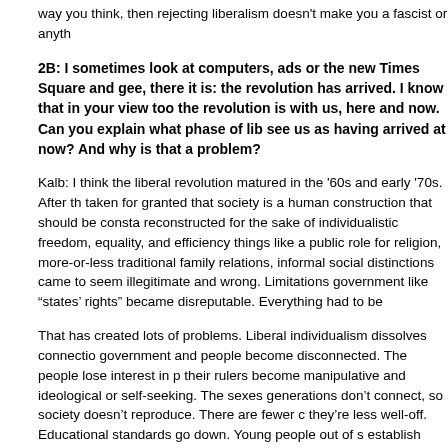way you think, then rejecting liberalism doesn't make you a fascist or anyth
2B: I sometimes look at computers, ads or the new Times Square and gee, there it is: the revolution has arrived. I know that in your view too the revolution is with us, here and now. Can you explain what phase of lib see us as having arrived at now? And why is that a problem?
Kalb: I think the liberal revolution matured in the '60s and early '70s. After th taken for granted that society is a human construction that should be consta reconstructed for the sake of individualistic freedom, equality, and efficiency things like a public role for religion, more-or-less traditional family relations, informal social distinctions came to seem illegitimate and wrong. Limitations government like “states’ rights” became disreputable. Everything had to be
That has created lots of problems. Liberal individualism dissolves connectio government and people become disconnected. The people lose interest in p their rulers become manipulative and ideological or self-seeking. The sexes generations don’t connect, so society doesn’t reproduce. There are fewer c they’re less well-off. Educational standards go down. Young people out of s establish themselves and start families.
The revolution was supposed to be for the sake of the individual and private out that it dissolves those things. Formal institutions take away the serious